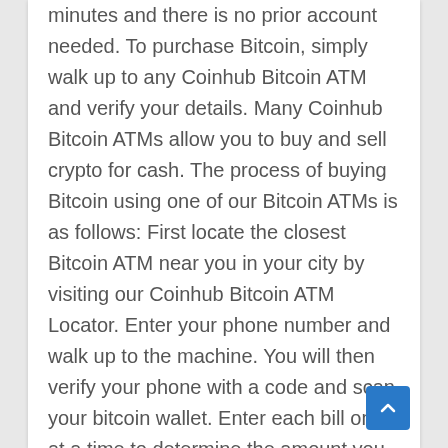minutes and there is no prior account needed. To purchase Bitcoin, simply walk up to any Coinhub Bitcoin ATM and verify your details. Many Coinhub Bitcoin ATMs allow you to buy and sell crypto for cash. The process of buying Bitcoin using one of our Bitcoin ATMs is as follows: First locate the closest Bitcoin ATM near you in your city by visiting our Coinhub Bitcoin ATM Locator. Enter your phone number and walk up to the machine. You will then verify your phone with a code and scan your bitcoin wallet. Enter each bill one at a time to determine the amount you wish to purchase. After that, confirm the purchase by entering the bitcoin atm. Bitcoin is then instantly sent to your wallet. The daily buying limit is $25,000. We have Bitcoin Machines conveniently placed throughout the country in major cities! Visit a Coinhub Bitcoin ATM today.